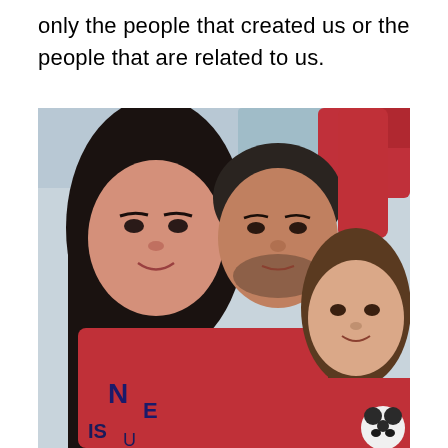only the people that created us or the people that are related to us.
[Figure (photo): A family selfie photo showing three people: a woman with long dark hair on the left wearing a red top, a man with short dark hair in the middle wearing a red long-sleeve shirt with his arm raised, and a young girl with long brown hair on the right wearing red and holding a stuffed panda toy. They appear to be in a car or vehicle interior.]